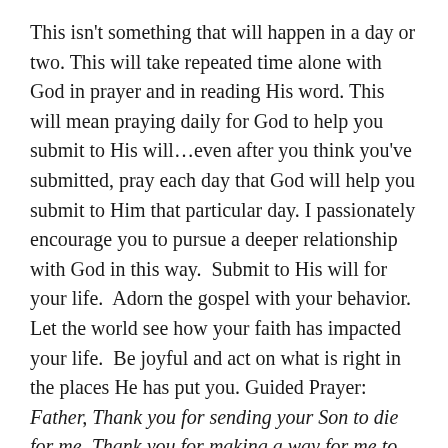This isn't something that will happen in a day or two. This will take repeated time alone with God in prayer and in reading His word. This will mean praying daily for God to help you submit to His will...even after you think you've submitted, pray each day that God will help you submit to Him that particular day. I passionately encourage you to pursue a deeper relationship with God in this way.  Submit to His will for your life.  Adorn the gospel with your behavior.  Let the world see how your faith has impacted your life.  Be joyful and act on what is right in the places He has put you. Guided Prayer: Father, Thank you for sending your Son to die for me. Thank you for making a way for me to have eternal life with you. Thank you for